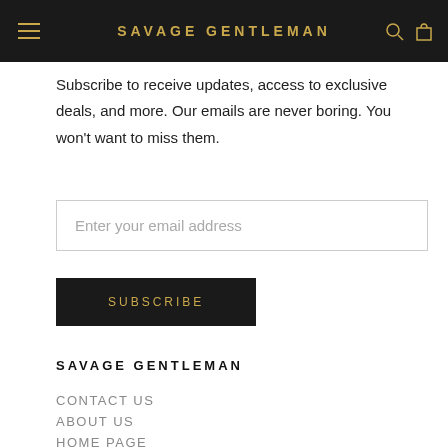SAVAGE GENTLEMAN
Subscribe to receive updates, access to exclusive deals, and more. Our emails are never boring. You won't want to miss them.
Enter your email address
SUBSCRIBE
SAVAGE GENTLEMAN
CONTACT US
ABOUT US
HOME PAGE
RETURNS & EXCHANGE